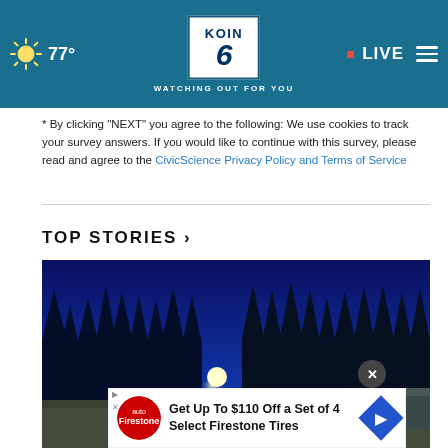77° | KOIN 6 CBS | WATCHING OUT FOR YOU | LIVE
* By clicking "NEXT" you agree to the following: We use cookies to track your survey answers. If you would like to continue with this survey, please read and agree to the CivicScience Privacy Policy and Terms of Service
TOP STORIES ›
[Figure (photo): Night sky photograph showing silhouettes of tall evergreen trees against a deep blue sky with a full moon glowing among the trees, and a frost-covered field in the foreground with a structure visible on the right.]
Get Up To $110 Off a Set of 4 Select Firestone Tires